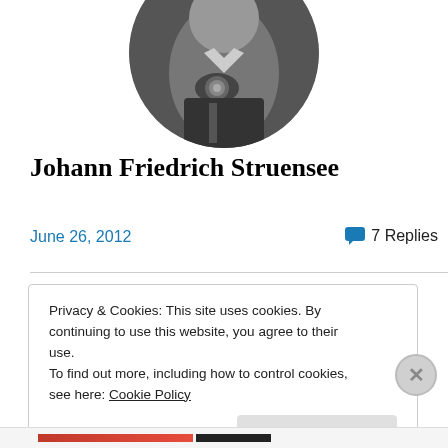[Figure (photo): Black and white oval portrait photograph of Johann Friedrich Struensee, showing torso with decorative medal/medallion on clothing, partially cropped at top of page]
Johann Friedrich Struensee
June 26, 2012
7 Replies
Privacy & Cookies: This site uses cookies. By continuing to use this website, you agree to their use.
To find out more, including how to control cookies, see here: Cookie Policy
Close and accept